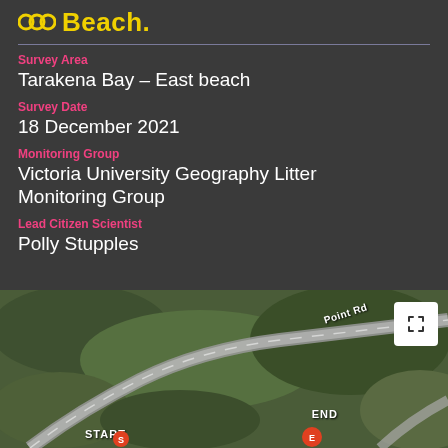Beach.
Survey Area
Tarakena Bay – East beach
Survey Date
18 December 2021
Monitoring Group
Victoria University Geography Litter Monitoring Group
Lead Citizen Scientist
Polly Stupples
[Figure (map): Aerial/satellite map showing survey route from START to END markers at Tarakena Bay East beach, with road curving through green coastal area. Road label 'Point Rd' visible top right. Fullscreen icon button in top right corner.]